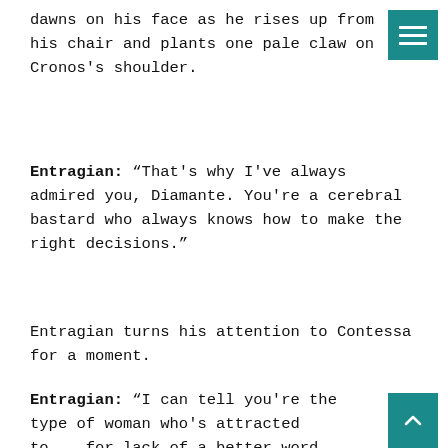dawns on his face as he rises up from his chair and plants one pale claw on Cronos's shoulder.
Entragian: “That's why I've always admired you, Diamante. You're a cerebral bastard who always knows how to make the right decisions.”
Entragian turns his attention to Contessa for a moment.
Entragian: “I can tell you're the type of woman who's attracted to....for lack of a better word, Evil. And bas on that, I'd say you've chosen the perfect beau. Take it